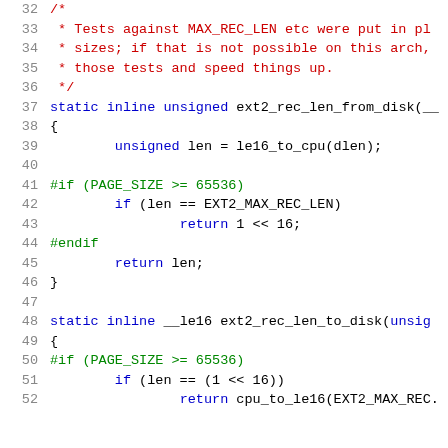[Figure (screenshot): Source code listing of C code showing ext2_rec_len_from_disk and ext2_rec_len_to_disk static inline functions with line numbers 32-52. Comments in red, keywords in blue, preprocessor directives in green.]